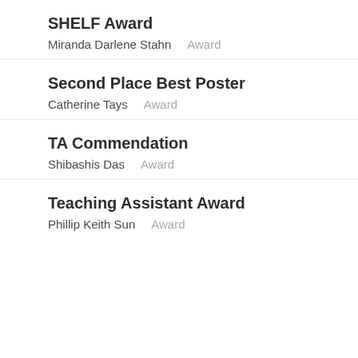SHELF Award
Miranda Darlene Stahn    Award
Second Place Best Poster
Catherine Tays    Award
TA Commendation
Shibashis Das    Award
Teaching Assistant Award
Phillip Keith Sun    Award